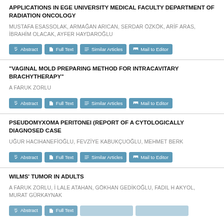APPLICATIONS IN EGE UNIVERSITY MEDICAL FACULTY DEPARTMENT OF RADIATION ONCOLOGY
MUSTAFA ESASSOLAK, ARMAĞAN ARICAN, SERDAR ÖZKÖK, ARİF ARAS, İBRAHİM OLACAK, AYFER HAYDAROĞLU
"VAGINAL MOLD PREPARING METHOD FOR INTRACAVITARY BRACHYTHERAPY"
A FARUK ZORLU
PSEUDOMYXOMA PERITONEI (REPORT OF A CYTOLOGICALLY DIAGNOSED CASE
UĞUR HACIHANEFİOĞLU, FEVZİYE KABUKÇUOĞLU, MEHMET BERK
WILMS' TUMOR IN ADULTS
A FARUK ZORLU, İ LALE ATAHAN, GÖKHAN GEDİKOĞLU, FADIL H AKYOL, MURAT GÜRKAYNAK